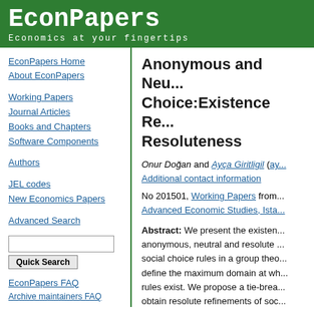EconPapers
Economics at your fingertips
EconPapers Home
About EconPapers
Working Papers
Journal Articles
Books and Chapters
Software Components
Authors
JEL codes
New Economics Papers
Advanced Search
EconPapers FAQ
Archive maintainers FAQ
Cookies at EconPapers
Format for printing
Anonymous and Neu... Choice:Existence Re... Resoluteness
Onur Doğan and Ayça Giritligil (ay...
Additional contact information
No 201501, Working Papers from... Advanced Economic Studies, Ista...
Abstract: We present the existen... anonymous, neutral and resolute ... social choice rules in a group theo... define the maximum domain at wh... rules exist. We propose a tie-brea... obtain resolute refinements of soc... preserves anonymity and neutrali... this refinement to satisfy simple m... compared with such conditions fo... refinements obtained via conventi... mechanisms.